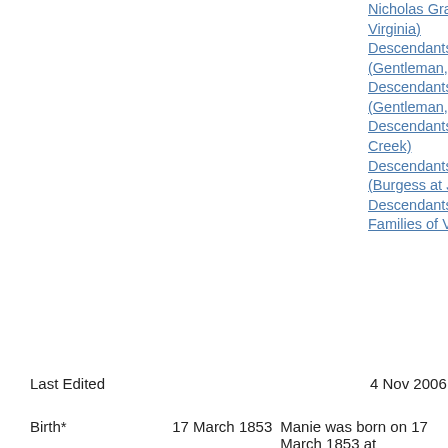Nicholas Granger (First Families of Virginia)
Descendants of Richard Kellam (Gentleman, Occahannock) (#1)
Descendants of Richard Kellam (Gentleman, Occahannock) (#2)
Descendants of John Major (Nandua Creek)
Descendants of Capt. Edmund Scarburgh (Burgess at Jamestown)
Descendants of Anthony West (First Families of Virginia)
Last Edited    4 Nov 2006
Birth*    17 March 1853    Manie was born on 17 March 1853 at Accomack Co, VA.2